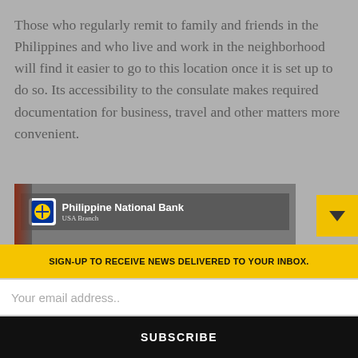Those who regularly remit to family and friends in the Philippines and who live and work in the neighborhood will find it easier to go to this location once it is set up to do so. Its accessibility to the consulate makes required documentation for business, travel and other matters more convenient.
[Figure (photo): Photo of Philippine National Bank (PNB) Los Angeles, USA Branch entrance sign with balloons and a Welcome To sign listing EVP Bernie Tocmo]
SIGN-UP TO RECEIVE NEWS DELIVERED TO YOUR INBOX.
Your email address..
SUBSCRIBE